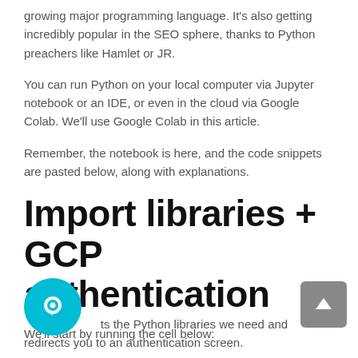growing major programming language. It's also getting incredibly popular in the SEO sphere, thanks to Python preachers like Hamlet or JR.
You can run Python on your local computer via Jupyter notebook or an IDE, or even in the cloud via Google Colab. We'll use Google Colab in this article.
Remember, the notebook is here, and the code snippets are pasted below, along with explanations.
Import libraries + GCP authentication
We'll start by running the cell below:
…ts the Python libraries we need and redirects you to an authentication screen.